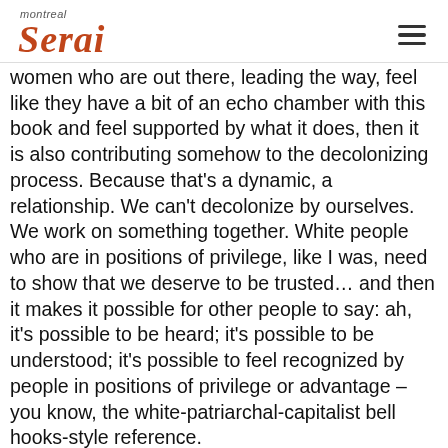montreal serai
women who are out there, leading the way, feel like they have a bit of an echo chamber with this book and feel supported by what it does, then it is also contributing somehow to the decolonizing process. Because that's a dynamic, a relationship. We can't decolonize by ourselves. We work on something together. White people who are in positions of privilege, like I was, need to show that we deserve to be trusted… and then it makes it possible for other people to say: ah, it's possible to be heard; it's possible to be understood; it's possible to feel recognized by people in positions of privilege or advantage – you know, the white-patriarchal-capitalist bell hooks-style reference.
MS: In your book, it's clear that you have been deeply